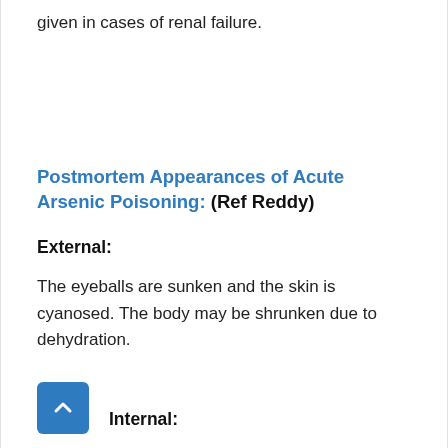given in cases of renal failure.
Postmortem Appearances of Acute Arsenic Poisoning: (Ref Reddy)
External:
The eyeballs are sunken and the skin is cyanosed. The body may be shrunken due to dehydration.
Internal: